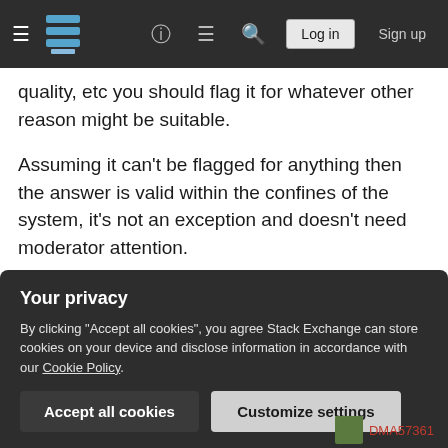Stack Exchange navigation bar with hamburger menu, logo, help, chat, search, Log in, Sign up
quality, etc you should flag it for whatever other reason might be suitable.
Assuming it can't be flagged for anything then the answer is valid within the confines of the system, it's not an exception and doesn't need moderator attention.
Add a comment explaining the problem (or upvote any comment that has already done so).
If it's particularly bad for some reason then
Your privacy
By clicking "Accept all cookies", you agree Stack Exchange can store cookies on your device and disclose information in accordance with our Cookie Policy.
Accept all cookies
Customize settings
DMA57361